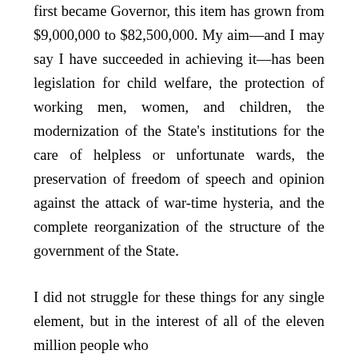first became Governor, this item has grown from $9,000,000 to $82,500,000. My aim—and I may say I have succeeded in achieving it—has been legislation for child welfare, the protection of working men, women, and children, the modernization of the State's institutions for the care of helpless or unfortunate wards, the preservation of freedom of speech and opinion against the attack of war-time hysteria, and the complete reorganization of the structure of the government of the State.
I did not struggle for these things for any single element, but in the interest of all of the eleven million people who